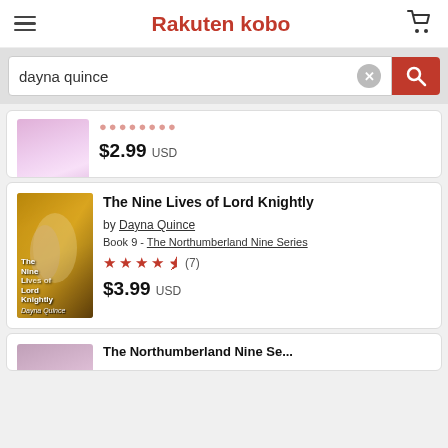Rakuten kobo
dayna quince
$2.99 USD
The Nine Lives of Lord Knightly
by Dayna Quince
Book 9 - The Northumberland Nine Series
★★★★½ (7)
$3.99 USD
The Northumberland Nine Se...